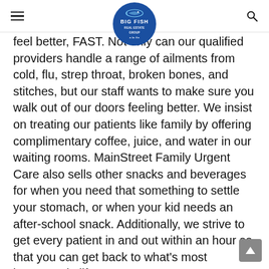Big Fish Real Estate Group (logo)
feel better, FAST. Not only can our qualified providers handle a range of ailments from cold, flu, strep throat, broken bones, and stitches, but our staff wants to make sure you walk out of our doors feeling better. We insist on treating our patients like family by offering complimentary coffee, juice, and water in our waiting rooms. MainStreet Family Urgent Care also sells other snacks and beverages for when you need that something to settle your stomach, or when your kid needs an after-school snack. Additionally, we strive to get every patient in and out within an hour so that you can get back to what's most important in life!
Not only can MainStreet Family Urgent Care treat you and your family, we can also care for your employees too! We offer a full range of occupational health